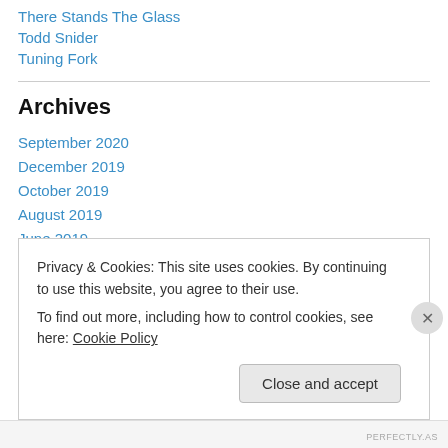There Stands The Glass
Todd Snider
Tuning Fork
Archives
September 2020
December 2019
October 2019
August 2019
June 2019
May 2019
April 2019
Privacy & Cookies: This site uses cookies. By continuing to use this website, you agree to their use.
To find out more, including how to control cookies, see here: Cookie Policy
Close and accept